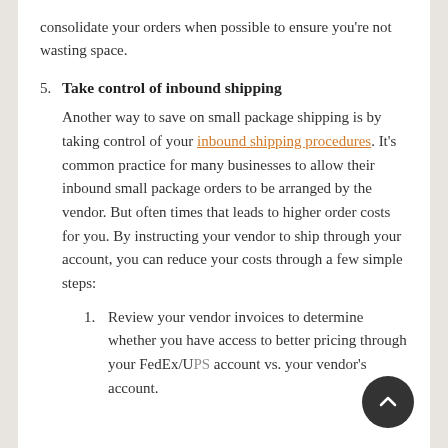consolidate your orders when possible to ensure you're not wasting space.
5. Take control of inbound shipping
Another way to save on small package shipping is by taking control of your inbound shipping procedures. It's common practice for many businesses to allow their inbound small package orders to be arranged by the vendor. But often times that leads to higher order costs for you. By instructing your vendor to ship through your account, you can reduce your costs through a few simple steps:
1. Review your vendor invoices to determine whether you have access to better pricing through your FedEx/UPS account vs. your vendor's account.